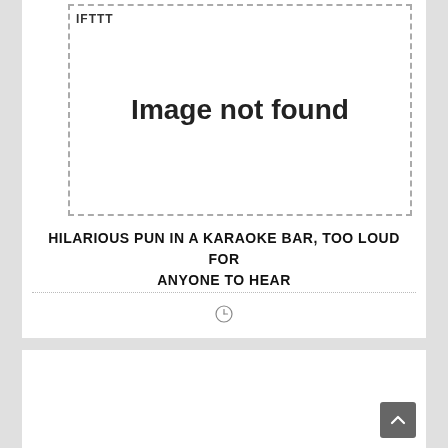[Figure (other): Image not found placeholder box with IFTTT label at top-left and dashed border]
HILARIOUS PUN IN A KARAOKE BAR, TOO LOUD FOR ANYONE TO HEAR
[Figure (other): Clock/time icon circle]
[Figure (other): Second card area (partial, white background)]
[Figure (other): Back to top button, dark gray rounded square with up arrow]